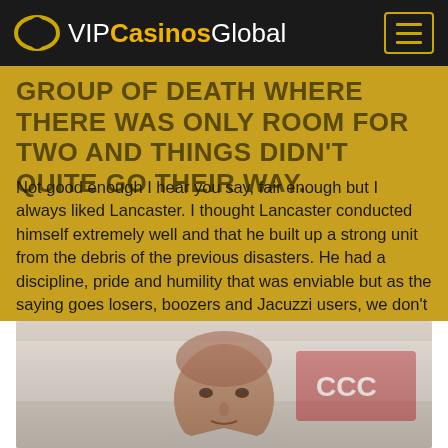VIPCasinosGlobal
GROUP OF DEATH WHERE THERE WAS ONLY ROOM FOR TWO AND THINGS DIDN'T QUITE GO THEIR WAY.
Not good enough I hear you say, fair enough but I always liked Lancaster. I thought Lancaster conducted himself extremely well and that he built up a strong unit from the debris of the previous disasters. He had a discipline, pride and humility that was enviable but as the saying goes losers, boozers and Jacuzzi users, we don't need, so off he goes.
[Figure (photo): Photo of a man (rugby coach Eddie Jones) at a press conference with a Canterbury (CCC) branded backdrop]